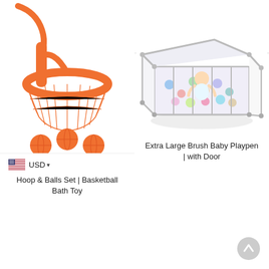[Figure (logo): mishycobabies logo with elephant in a cart, text reads 'mishycobabies']
[Figure (other): Navigation icons: search magnifier, hamburger menu, shopping bag]
[Figure (photo): Orange basketball hoop with net and three orange balls bath toy product photo]
[Figure (other): US flag icon with USD currency dropdown]
Hoop & Balls Set | Basketball Bath Toy
[Figure (photo): Extra large gray brush baby playpen with door, baby inside surrounded by colorful balls]
Extra Large Brush Baby Playpen | with Door
[Figure (other): Scroll to top circular arrow button]